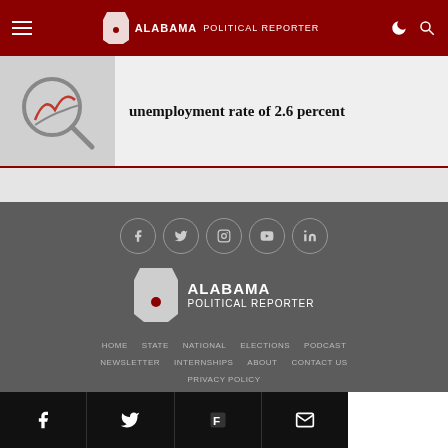Alabama Political Reporter
unemployment rate of 2.6 percent
[Figure (logo): Alabama Political Reporter logo with state silhouette]
HOME
STATE
NATIONAL
ELECTIONS
PODCAST
NEWSLETTER
INTERNSHIPS
ABOUT
CONTACT US
PRIVACY POLICY
Facebook Twitter Flipboard Email share buttons